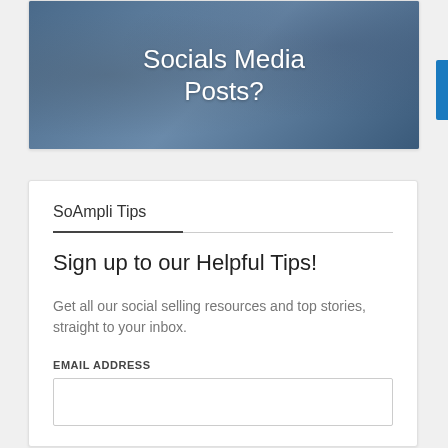[Figure (photo): Image banner with text 'Socials Media Posts?' overlaid on a dark blue/teal background photo]
SoAmpli Tips
Sign up to our Helpful Tips!
Get all our social selling resources and top stories, straight to your inbox.
EMAIL ADDRESS